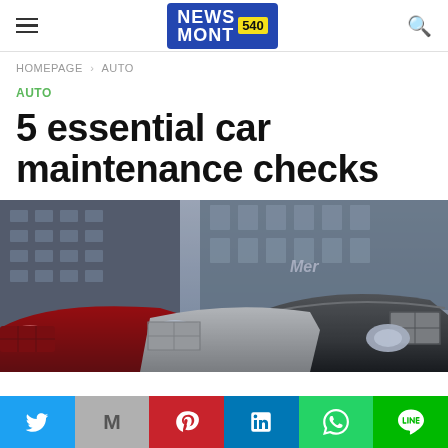NEWS MONT 540 — navigation header with logo, hamburger menu, and search icon
HOMEPAGE › AUTO
AUTO
5 essential car maintenance checks
[Figure (photo): Row of luxury/sports cars parked in front of a modern building with glass facade, shot from front-low angle showing grilles and headlights]
Social share bar: Twitter, Mail, Pinterest, LinkedIn, WhatsApp, Line